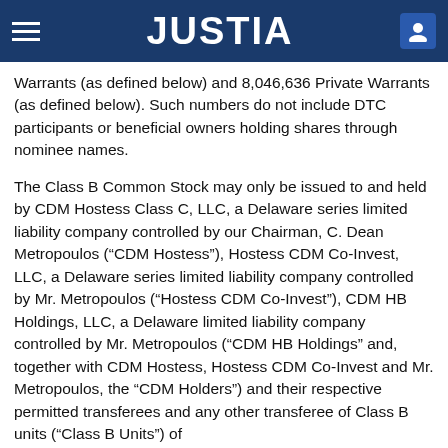JUSTIA
Warrants (as defined below) and 8,046,636 Private Warrants (as defined below). Such numbers do not include DTC participants or beneficial owners holding shares through nominee names.
The Class B Common Stock may only be issued to and held by CDM Hostess Class C, LLC, a Delaware series limited liability company controlled by our Chairman, C. Dean Metropoulos (“CDM Hostess”), Hostess CDM Co-Invest, LLC, a Delaware series limited liability company controlled by Mr. Metropoulos (“Hostess CDM Co-Invest”), CDM HB Holdings, LLC, a Delaware limited liability company controlled by Mr. Metropoulos (“CDM HB Holdings” and, together with CDM Hostess, Hostess CDM Co-Invest and Mr. Metropoulos, the “CDM Holders”) and their respective permitted transferees and any other transferee of Class B units (“Class B Units”) of